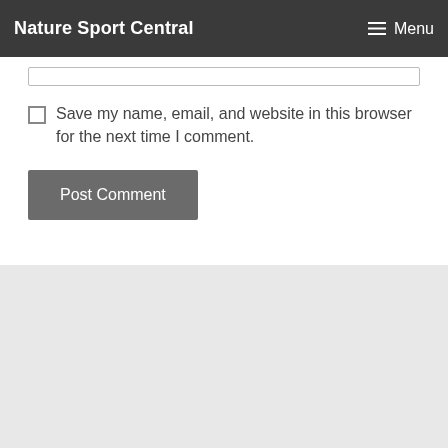Nature Sport Central   ☰ Menu
Save my name, email, and website in this browser for the next time I comment.
Post Comment